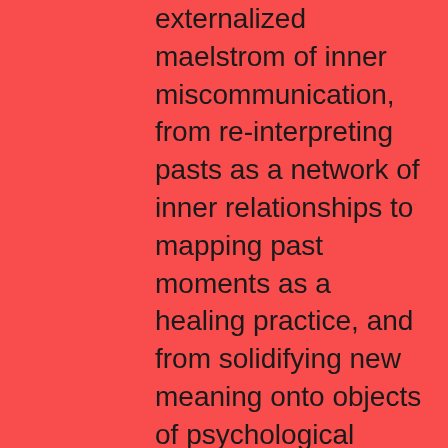externalized maelstrom of inner miscommunication, from re-interpreting pasts as a network of inner relationships to mapping past moments as a healing practice, and from solidifying new meaning onto objects of psychological turmoil to extending humorous healing through comforting oddities.